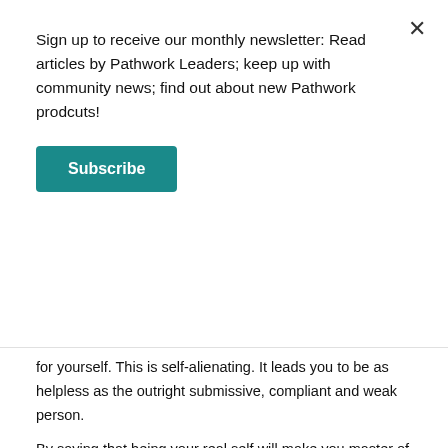Sign up to receive our monthly newsletter: Read articles by Pathwork Leaders; keep up with community news; find out about new Pathwork prodcuts!
Subscribe
for yourself. This is self-alienating. It leads you to be as helpless as the outright submissive, compliant and weak person.
By saying that being your real self will make you master of your life, I mean something other than a power-driven compulsion always to win and never to do without whatever you wish. When your real self masters your life, your forces work constructively and productively, due to a minimum of inner problems. They are not paralyzed by inner mismanagement. The richness of your spirit, of your human individuality, will unfold with all its strength. When you find yourself in a difficult situation, you will use your